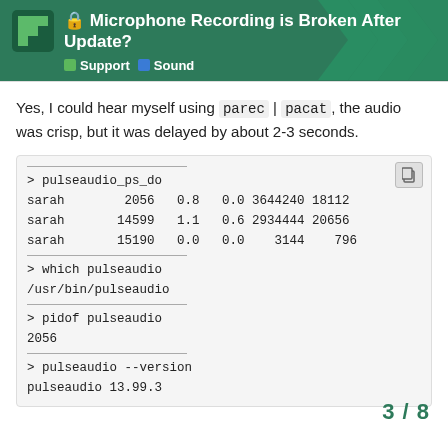Microphone Recording is Broken After Update? | Support | Sound
Yes, I could hear myself using parec | pacat, the audio was crisp, but it was delayed by about 2-3 seconds.
> pulseaudio_ps_do
sarah        2056   0.8   0.0 3644240 18112
sarah       14599   1.1   0.6 2934444 20656
sarah       15190   0.0   0.0    3144   796
_____________________
> which pulseaudio
/usr/bin/pulseaudio
_____________________
> pidof pulseaudio
2056
_____________________
> pulseaudio --version
pulseaudio 13.99.3
3 / 8